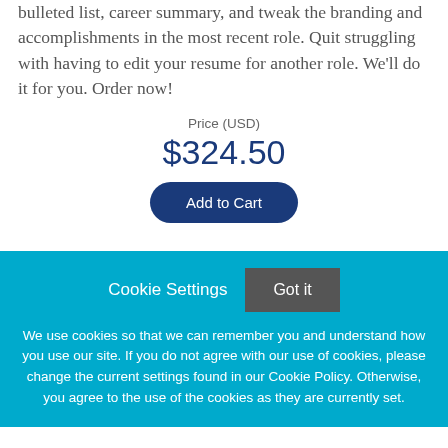bulleted list, career summary, and tweak the branding and accomplishments in the most recent role. Quit struggling with having to edit your resume for another role. We'll do it for you. Order now!
Price (USD)
$324.50
Add to Cart
Cookie Settings
Got it
We use cookies so that we can remember you and understand how you use our site. If you do not agree with our use of cookies, please change the current settings found in our Cookie Policy. Otherwise, you agree to the use of the cookies as they are currently set.